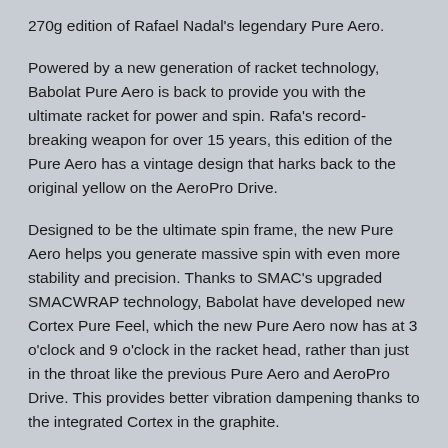270g edition of Rafael Nadal's legendary Pure Aero.
Powered by a new generation of racket technology, Babolat Pure Aero is back to provide you with the ultimate racket for power and spin. Rafa's record-breaking weapon for over 15 years, this edition of the Pure Aero has a vintage design that harks back to the original yellow on the AeroPro Drive.
Designed to be the ultimate spin frame, the new Pure Aero helps you generate massive spin with even more stability and precision. Thanks to SMAC's upgraded SMACWRAP technology, Babolat have developed new Cortex Pure Feel, which the new Pure Aero now has at 3 o'clock and 9 o'clock in the racket head, rather than just in the throat like the previous Pure Aero and AeroPro Drive. This provides better vibration dampening thanks to the integrated Cortex in the graphite.
The Pure Aero Lite is perfectly suited to junior players switching over to their first adult racket or intermediate players looking for lightness,